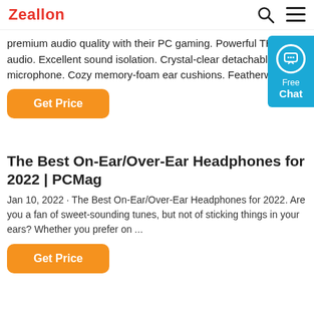Zeallon
premium audio quality with their PC gaming. Powerful THX audio. Excellent sound isolation. Crystal-clear detachable microphone. Cozy memory-foam ear cushions. Featherweight.
Get Price
The Best On-Ear/Over-Ear Headphones for 2022 | PCMag
Jan 10, 2022 · The Best On-Ear/Over-Ear Headphones for 2022. Are you a fan of sweet-sounding tunes, but not of sticking things in your ears? Whether you prefer on ...
Get Price